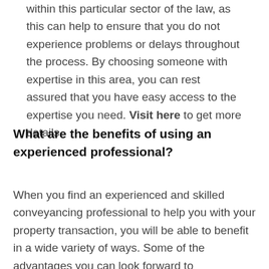within this particular sector of the law, as this can help to ensure that you do not experience problems or delays throughout the process. By choosing someone with expertise in this area, you can rest assured that you have easy access to the expertise you need. Visit here to get more details.
What are the benefits of using an experienced professional?
When you find an experienced and skilled conveyancing professional to help you with your property transaction, you will be able to benefit in a wide variety of ways. Some of the advantages you can look forward to